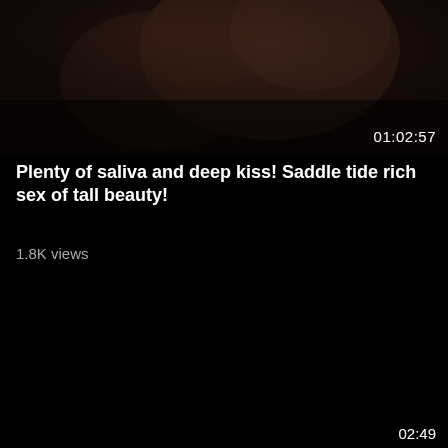[Figure (screenshot): Dark video thumbnail showing partially visible faces in dim lighting, with duration overlay 01:02:57 in bottom right corner]
Plenty of saliva and deep kiss! Saddle tide rich sex of tall beauty!
1.8K views
[Figure (screenshot): Second dark video thumbnail, mostly black, with partial duration overlay 02:49 in bottom right corner]